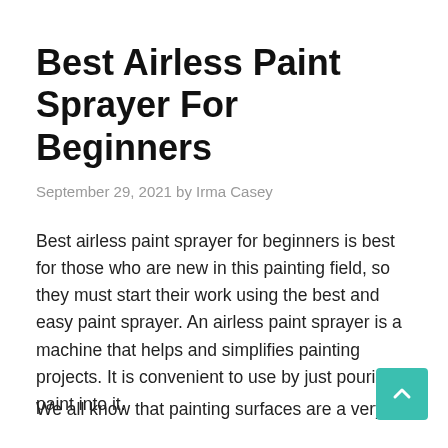Best Airless Paint Sprayer For Beginners
September 29, 2021 by Irma Casey
Best airless paint sprayer for beginners is best for those who are new in this painting field, so they must start their work using the best and easy paint sprayer. An airless paint sprayer is a machine that helps and simplifies painting projects. It is convenient to use by just pouring paint into it.
We all know that painting surfaces are a very important thing in the paint. Because those...